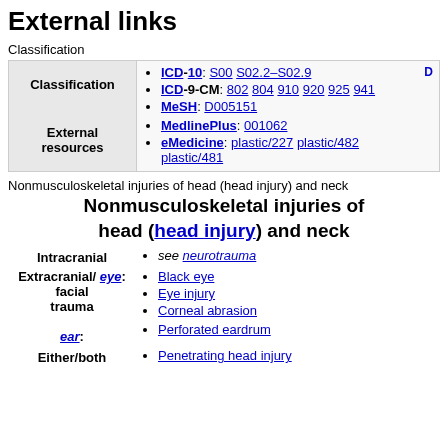External links
Classification
| Classification | Links |
| --- | --- |
| Classification | ICD-10: S00 S02.2–S02.9
ICD-9-CM: 802 804 910 920 925 941
MeSH: D005151 |
| External resources | MedlinePlus: 001062
eMedicine: plastic/227 plastic/482 plastic/481 |
Nonmusculoskeletal injuries of head (head injury) and neck
Nonmusculoskeletal injuries of head (head injury) and neck
Intracranial: see neurotrauma
Extracranial/eye: facial trauma - Black eye, Eye injury, Corneal abrasion
ear: Perforated eardrum
Either/both: Penetrating head injury